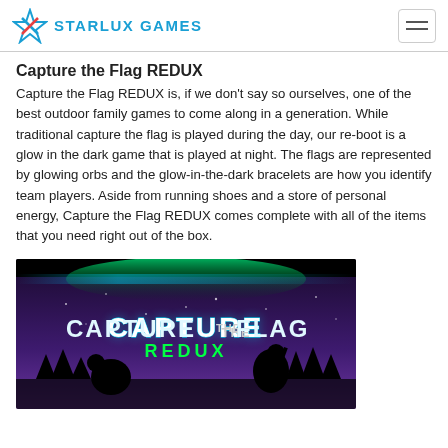STARLUX GAMES
Capture the Flag REDUX
Capture the Flag REDUX is, if we don't say so ourselves, one of the best outdoor family games to come along in a generation. While traditional capture the flag is played during the day, our re-boot is a glow in the dark game that is played at night. The flags are represented by glowing orbs and the glow-in-the-dark bracelets are how you identify team players. Aside from running shoes and a store of personal energy, Capture the Flag REDUX comes complete with all of the items that you need right out of the box.
[Figure (photo): Capture the Flag REDUX product banner showing text 'CAPTURE THE FLAG REDUX' in glowing letters against a dark purple/night sky background with silhouettes of trees and people.]